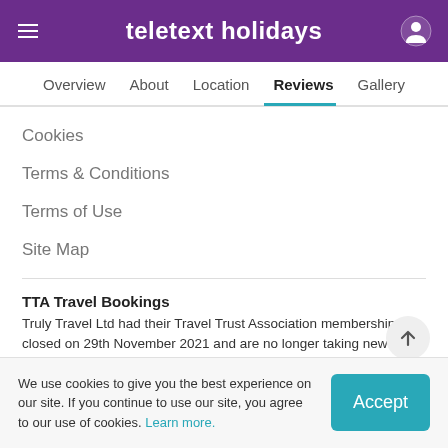teletext holidays
Overview
About
Location
Reviews
Gallery
Cookies
Terms & Conditions
Terms of Use
Site Map
TTA Travel Bookings
Truly Travel Ltd had their Travel Trust Association membership closed on 29th November 2021 and are no longer taking new bookings. All existing Truly Travel bookings have been re-contracted with TTA Travel (ATOL Licence T7173) and existing holiday bookings will be fulfilled as planned. For any questions, please visit the TTA Travel website.
TRAVEL AWARE – STAYING SAFE AND HEALTHY ABROAD
We use cookies to give you the best experience on our site. If you continue to use our site, you agree to our use of cookies. Learn more.